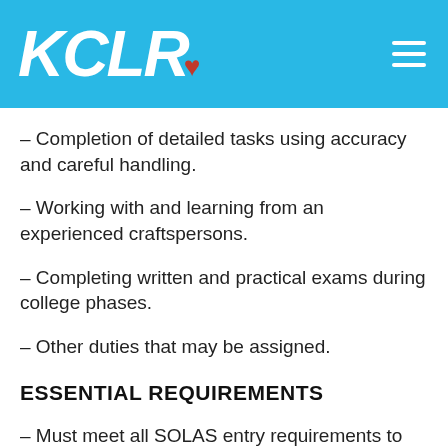KCLR
– Completion of detailed tasks using accuracy and careful handling.
– Working with and learning from an experienced craftspersons.
– Completing written and practical exams during college phases.
– Other duties that may be assigned.
ESSENTIAL REQUIREMENTS
– Must meet all SOLAS entry requirements to register for an apprenticeship.